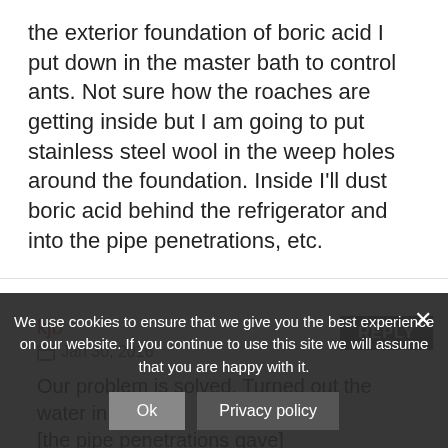the exterior foundation of boric acid I put down in the master bath to control ants. Not sure how the roaches are getting inside but I am going to put stainless steel wool in the weep holes around the foundation. Inside I'll dust boric acid behind the refrigerator and into the pipe penetrations, etc.
kjb
Jan 30, 2016
Our problem is solved. Turned out the water in [the pipe penetrations gave] bugs access. I lifted the lid and saw a bunch of them in t[here]... disgusting. Needless to say it got a thorough cleaning...
We use cookies to ensure that we give you the best experience on our website. If you continue to use this site we will assume that you are happy with it.